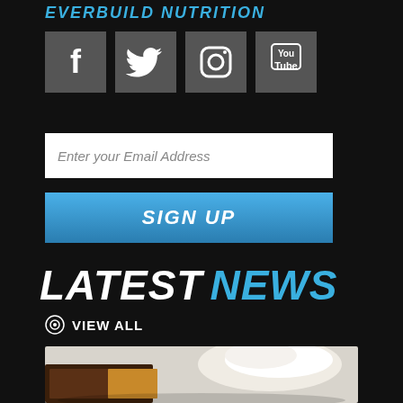EVERBUILD NUTRITION
[Figure (illustration): Four social media icons: Facebook, Twitter, Instagram, YouTube on dark gray square backgrounds]
Enter your Email Address
SIGN UP
LATEST NEWS
VIEW ALL
[Figure (photo): Close-up photo of chocolate-covered protein bar with a scoop of white powder/cream on a white background]